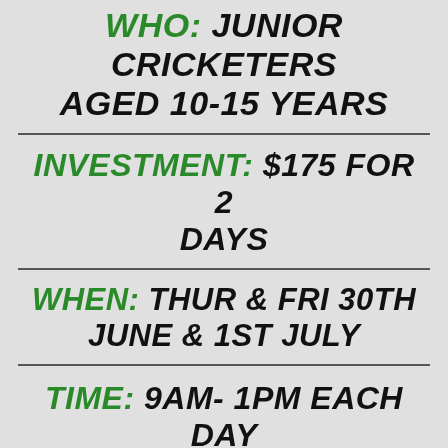WHO: JUNIOR CRICKETERS AGED 10-15 YEARS
INVESTMENT: $175 FOR 2 DAYS
WHEN: THUR & FRI 30TH JUNE & 1ST JULY
TIME: 9am- 1PM EACH DAY